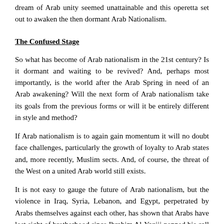dream of Arab unity seemed unattainable and this operetta set out to awaken the then dormant Arab Nationalism.
The Confused Stage
So what has become of Arab nationalism in the 21st century? Is it dormant and waiting to be revived? And, perhaps most importantly, is the world after the Arab Spring in need of an Arab awakening? Will the next form of Arab nationalism take its goals from the previous forms or will it be entirely different in style and method?
If Arab nationalism is to again gain momentum it will no doubt face challenges, particularly the growth of loyalty to Arab states and, more recently, Muslim sects. And, of course, the threat of the West on a united Arab world still exists.
It is not easy to gauge the future of Arab nationalism, but the violence in Iraq, Syria, Lebanon, and Egypt, perpetrated by Arabs themselves against each other, has shown that Arabs have lost sight of brotherhood since Ibrahim Al-Yaziji penned his call for an Arab awakening in 1868. Perhaps the only way in which this sentiment can be regained is by doing away with allegiances to nations and sects, and, instead, holding on to what makes us ‘us’: kalemat al dhaad.